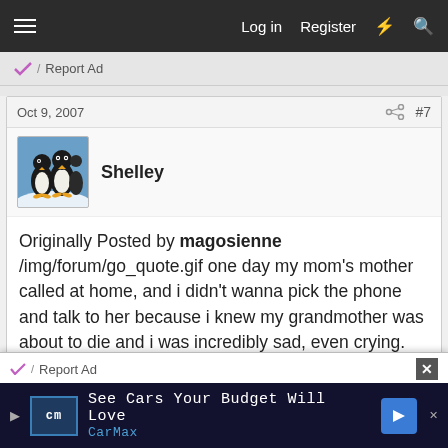≡  Log in  Register  ⚡  🔍
✓/ Report Ad
Oct 9, 2007  #7
[Figure (photo): Avatar image of penguins (Shelley's profile picture)]
Shelley
Originally Posted by magosienne /img/forum/go_quote.gif one day my mom's mother called at home, and i didn't wanna pick the phone and talk to her because i knew my grandmother was about to die and i was incredibly sad, even crying. my mom couldn't concentrate on her conversation and didn't believe it until my grandmother died. i was very young,
✓/ Report Ad
[Figure (screenshot): CarMax advertisement banner: See Cars Your Budget Will Love - CarMax logo with arrow icon]